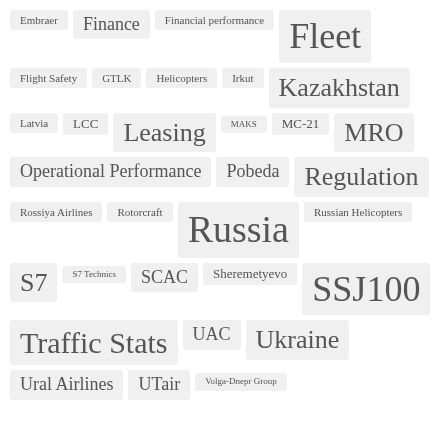Embraer
Finance
Financial performance
Fleet
Flight Safety
GTLK
Helicopters
Irkut
Kazakhstan
Latvia
LCC
Leasing
MAKS
MC-21
MRO
Operational Performance
Pobeda
Regulation
Rossiya Airlines
Rotorcraft
Russia
Russian Helicopters
S7
S7 Technics
SCAC
Sheremetyevo
SSJ100
Traffic Stats
UAC
Ukraine
Ural Airlines
UTair
Volga-Dnepr Group